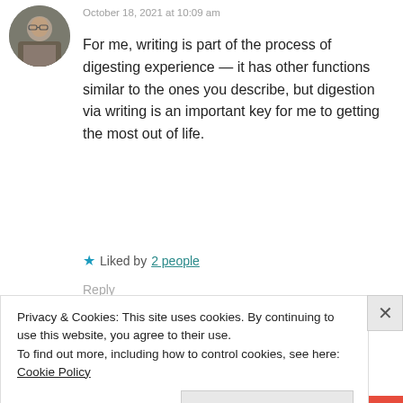[Figure (photo): Circular avatar photo of a person, appears to be an older individual in a casual setting]
October 18, 2021 at 10:09 am
For me, writing is part of the process of digesting experience — it has other functions similar to the ones you describe, but digestion via writing is an important key for me to getting the most out of life.
★ Liked by 2 people
Reply
[Figure (photo): Partial circular avatar of another commenter, cropped at bottom of visible area]
Privacy & Cookies: This site uses cookies. By continuing to use this website, you agree to their use.
To find out more, including how to control cookies, see here: Cookie Policy